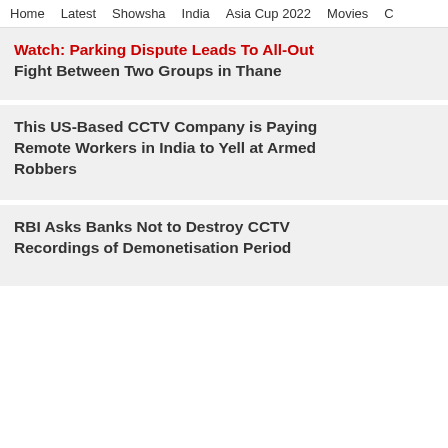Home  Latest  Showsha  India  Asia Cup 2022  Movies  C
Watch: Parking Dispute Leads To All-Out Fight Between Two Groups in Thane
This US-Based CCTV Company is Paying Remote Workers in India to Yell at Armed Robbers
RBI Asks Banks Not to Destroy CCTV Recordings of Demonetisation Period